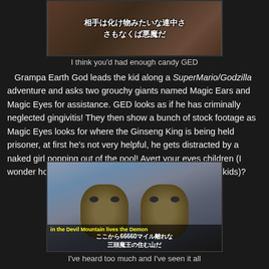[Figure (screenshot): Video screenshot with Japanese subtitles reading: 相手は化け物みたいな連中さ さもなくば悪魔だ]
I think you'd had enough candy GED
Grampa Earth God leads the kid along a SuperMario/Godzilla adventure and asks two grouchy giants named Magic Ears and Magic Eyes for assistance. GED looks as if he has criminally neglected gingivitis! They then show a bunch of stock footage as Magic Eyes looks for where the Ginseng King is being held prisoner, at first he's not very helpful, he gets distracted by a naked girl popping out of the pool! Avert your eyes children (I wonder how many unaware parents rented this for their kids)?
[Figure (screenshot): Video screenshot of two monster/creature faces with Japanese subtitles. English subtitle: 'in the Devil Mountain lives the Demon' Japanese: ここから66660マイル離れな 三頭魔王の住む山だ]
I've heard too much and I've seen it all